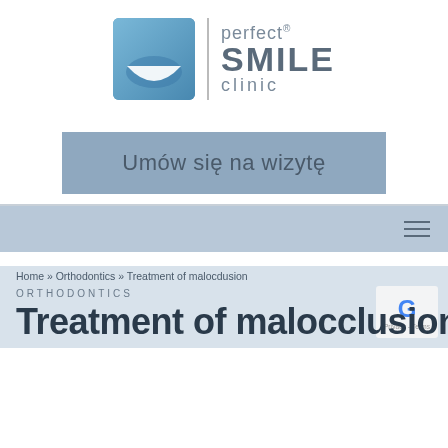[Figure (logo): Perfect Smile Clinic logo — blue square icon with white crescent smile graphic, vertical divider line, then text: 'perfect' (small), 'SMILE' (large bold), 'clinic' (small spaced)]
Umów się na wizytę
[Figure (screenshot): Navigation bar with hamburger menu icon on right, blue-grey background]
Home » Orthodontics » Treatment of malocdusion
Ta strona korzysta z ciasteczek aby świadczyć usługi na najwyższym poziomie. Dalsze korzystanie ze strony oznacza, że zgadzasz się na ich użycie.
ORTHODONTICS
Treatment of malocclusion